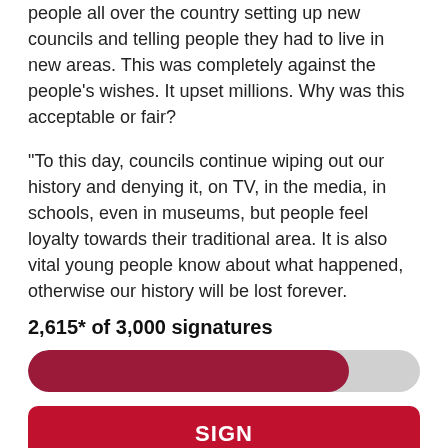people all over the country setting up new councils and telling people they had to live in new areas. This was completely against the people's wishes. It upset millions. Why was this acceptable or fair?
"To this day, councils continue wiping out our history and denying it, on TV, in the media, in schools, even in museums, but people feel loyalty towards their traditional area. It is also vital young people know about what happened, otherwise our history will be lost forever.
2,615* of 3,000 signatures
[Figure (other): Progress bar showing approximately 82% filled in dark red/maroon color on a grey background, indicating 2,615 of 3,000 signatures collected.]
SIGN